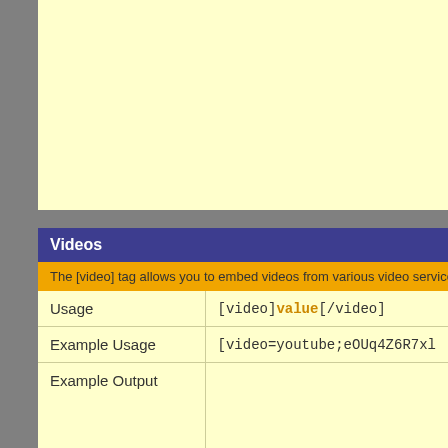[Figure (illustration): Two speech bubble icons - one unlinked (grayed out) and one linked (blue), each with a white speech bubble symbol, labeled (Not linked) and (Linked) respectively]
Videos
The [video] tag allows you to embed videos from various video services within your po
| Usage | [video]value[/video] |
| Example Usage | [video=youtube;eOUq4Z6R7xl] |
| Example Output |  |